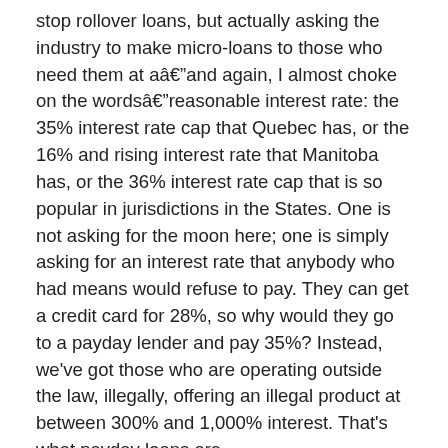stop rollover loans, but actually asking the industry to make micro-loans to those who need them at aâand again, I almost choke on the wordsâreasonable interest rate: the 35% interest rate cap that Quebec has, or the 16% and rising interest rate that Manitoba has, or the 36% interest rate cap that is so popular in jurisdictions in the States. One is not asking for the moon here; one is simply asking for an interest rate that anybody who had means would refuse to pay. They can get a credit card for 28%, so why would they go to a payday lender and pay 35%? Instead, we've got those who are operating outside the law, illegally, offering an illegal product at between 300% and 1,000% interest. That's what payday loans are.
What makes me a little nervous is that we have no idea who these experts are who are going to be making the recommendations. The government hasn't said how they're choosing them, they haven't said who they've chosen, and they haven't given any valid reasons as to why they are not choosing the people who would be found in